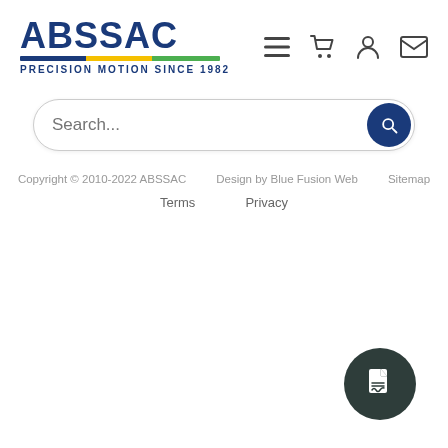[Figure (logo): ABSSAC logo with blue text, colored underline bar (blue, yellow, green), and tagline PRECISION MOTION SINCE 1982]
[Figure (infographic): Navigation icons: hamburger menu, shopping cart, user/person icon, envelope/mail icon]
[Figure (screenshot): Search bar with placeholder text Search... and dark blue circular search button]
Copyright © 2010-2022 ABSSAC   Design by Blue Fusion Web   Sitemap
Terms   Privacy
[Figure (infographic): Floating dark circular button with document/report icon in bottom right corner]